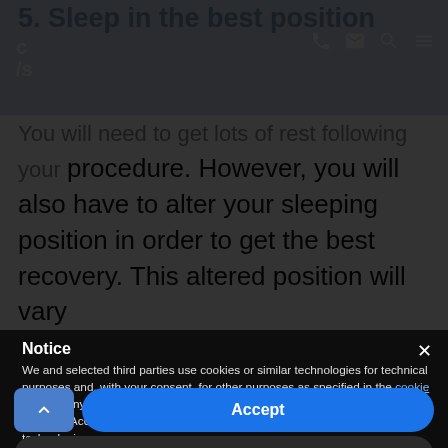5. Sleep in the best position
cs
You will need to get lots of rest following your procedure. However, you will also have to alter your sleeping position in order to get the best recovery. This altered position will vary
Notice
We and selected third parties use cookies or similar technologies for technical purposes and, with your consent, for other purposes as specified in the cookie policy. Denying consent may make related features unavailable.
Use the “Accept” button or close this notice to consent to the use of such technologies.
Accept
Learn more and customise